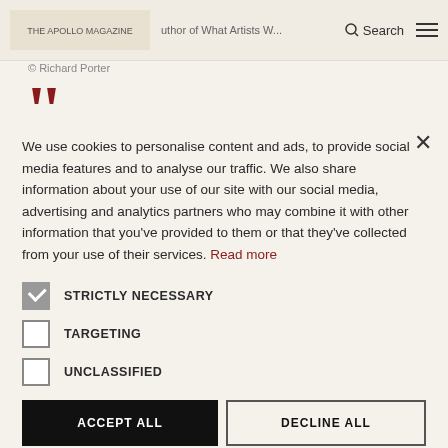Search [menu]
© Richard Porter
[Figure (other): Large decorative quotation marks in dark red]
We use cookies to personalise content and ads, to provide social media features and to analyse our traffic. We also share information about your use of our site with our social media, advertising and analytics partners who may combine it with other information that you've provided to them or that they've collected from your use of their services. Read more
STRICTLY NECESSARY
TARGETING
UNCLASSIFIED
ACCEPT ALL
DECLINE ALL
SHOW DETAILS